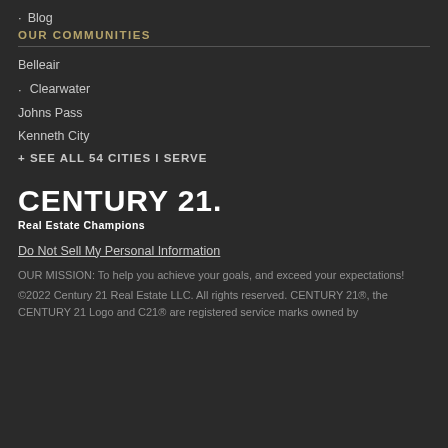Blog
OUR COMMUNITIES
Belleair
Clearwater
Johns Pass
Kenneth City
+ SEE ALL 54 CITIES I SERVE
CENTURY 21. Real Estate Champions
Do Not Sell My Personal Information
OUR MISSION: To help you achieve your goals, and exceed your expectations!
©2022 Century 21 Real Estate LLC. All rights reserved. CENTURY 21®, the CENTURY 21 Logo and C21® are registered service marks owned by